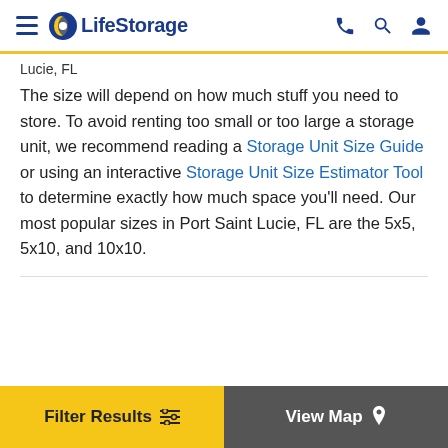LifeStorage
Lucie, FL
The size will depend on how much stuff you need to store. To avoid renting too small or too large a storage unit, we recommend reading a Storage Unit Size Guide or using an interactive Storage Unit Size Estimator Tool to determine exactly how much space you'll need. Our most popular sizes in Port Saint Lucie, FL are the 5x5, 5x10, and 10x10.
Filter Results
View Map